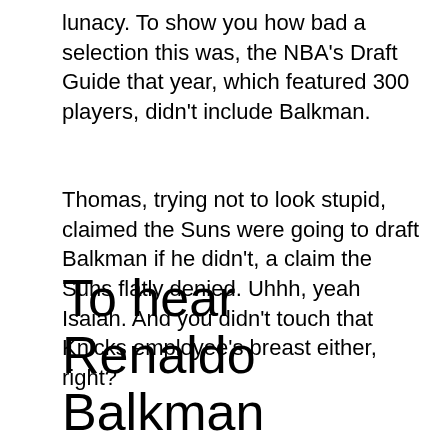lunacy. To show you how bad a selection this was, the NBA's Draft Guide that year, which featured 300 players, didn't include Balkman.
Thomas, trying not to look stupid, claimed the Suns were going to draft Balkman if he didn't, a claim the Suns flatly denied. Uhhh, yeah Isaiah. And you didn't touch that Knicks employee's breast either, right?
To hear Renaldo Balkman described as an “energy player” as Thomas did after